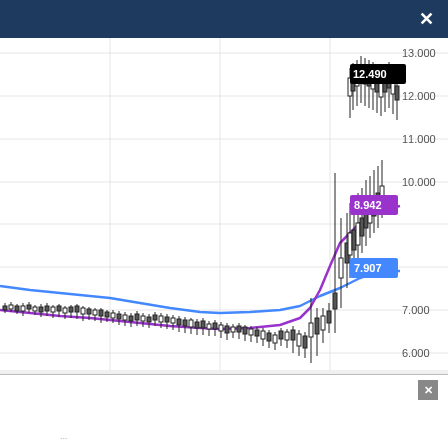[Figure (continuous-plot): Financial candlestick chart with two moving average lines (purple and blue). The candlestick price action shows a dramatic rise from around 6,500-7,000 range up to approximately 12,490 (current price shown in black label). Y-axis shows price levels: 6.000, 7.000, 8.000 (implied), 9.000 (implied), 10.000, 11.000, 12.000, 13.000. A purple moving average line labeled 8.942 rises steeply from near 6,500 to ~8,942. A blue moving average line labeled 7.907 rises more gradually to ~7,907. Current price label shows 12.490 in black background.]